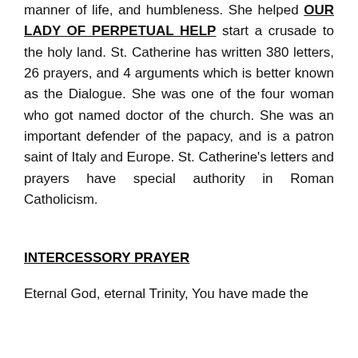manner of life, and humbleness. She helped OUR LADY OF PERPETUAL HELP start a crusade to the holy land. St. Catherine has written 380 letters, 26 prayers, and 4 arguments which is better known as the Dialogue. She was one of the four woman who got named doctor of the church. She was an important defender of the papacy, and is a patron saint of Italy and Europe. St. Catherine's letters and prayers have special authority in Roman Catholicism.
INTERCESSORY PRAYER
Eternal God, eternal Trinity, You have made the